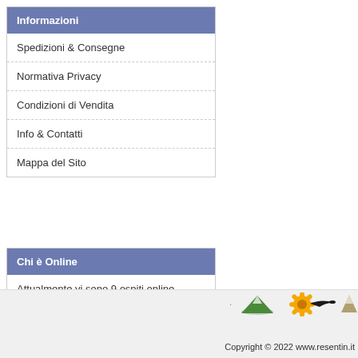Informazioni
Spedizioni & Consegne
Normativa Privacy
Condizioni di Vendita
Info & Contatti
Mappa del Sito
Chi è Online
Attualmente vi sono 9 ospiti online.
[Figure (logo): Footer logos including green mountain, sunflower/bird, and partial logo on right]
Copyright © 2022 www.resentin.it